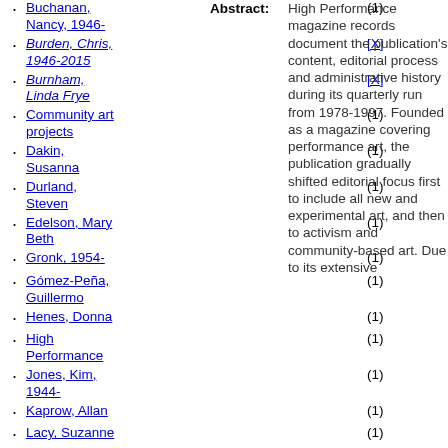Buchanan, Nancy, 1946- (1)
Burden, Chris, 1946-2015 [X]
Burnham, Linda Frye [X]
Community art projects (1)
Dakin, Susanna (1)
Durland, Steven (1)
Edelson, Mary Beth (1)
Gronk, 1954- (1)
Gómez-Peña, Guillermo (1)
Henes, Donna (1)
High Performance (1)
Jones, Kim, 1944- (1)
Kaprow, Allan (1)
Lacy, Suzanne (1)
McCarthy, Paul, 1945- (1)
Nitsch (1)
Abstract: High Performance magazine records document the publication's content, editorial process and administrative history during its quarterly run from 1978-1997. Founded as a magazine covering performance art, the publication gradually shifted editorial focus first to include all new and experimental art, and then to activism and community-based art. Due to its extensive